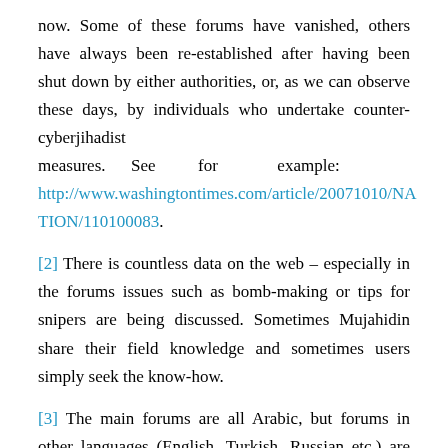now. Some of these forums have vanished, others have always been re-established after having been shut down by either authorities, or, as we can observe these days, by individuals who undertake counter-cyberjihadist measures. See for example: http://www.washingtontimes.com/article/20071010/NATION/110100083.
[2] There is countless data on the web – especially in the forums issues such as bomb-making or tips for snipers are being discussed. Sometimes Mujahidin share their field knowledge and sometimes users simply seek the know-how.
[3] The main forums are all Arabic, but forums in other languages (English, Turkish, Russian etc.) are available.